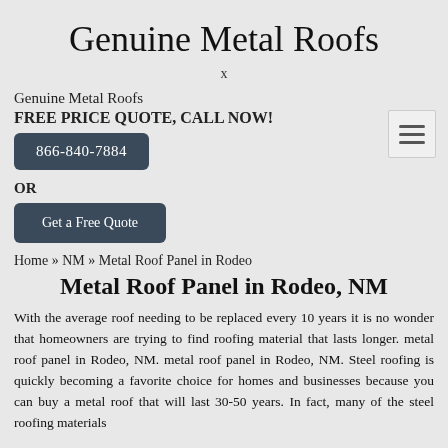Genuine Metal Roofs
x
[Figure (other): Hamburger menu button icon with three horizontal lines]
Genuine Metal Roofs
FREE PRICE QUOTE, CALL NOW!
866-840-7884
OR
Get a Free Quote
Home » NM » Metal Roof Panel in Rodeo
Metal Roof Panel in Rodeo, NM
With the average roof needing to be replaced every 10 years it is no wonder that homeowners are trying to find roofing material that lasts longer. metal roof panel in Rodeo, NM. metal roof panel in Rodeo, NM. Steel roofing is quickly becoming a favorite choice for homes and businesses because you can buy a metal roof that will last 30-50 years. In fact, many of the steel roofing materials